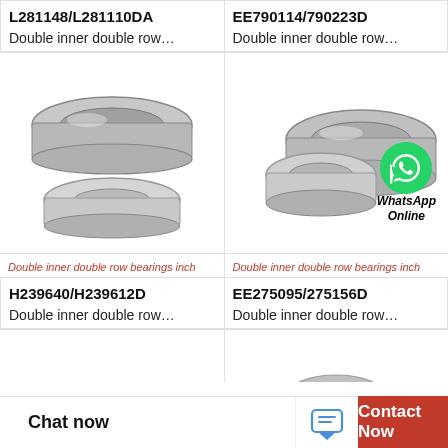L281148/L281110DA
Double inner double row…
EE790114/790223D
Double inner double row…
[Figure (photo): Tapered roller bearing, double inner double row, inch series - disassembled view showing cone and cup]
[Figure (photo): Tapered roller bearing, double inner double row, inch series - assembled view with WhatsApp Online overlay]
Double inner double row bearings inch
Double inner double row bearings inch
H239640/H239612D
Double inner double row…
EE275095/275156D
Double inner double row…
[Figure (photo): Partial view of tapered roller bearing]
[Figure (photo): Partial view of tapered roller bearing]
Chat now
Contact Now